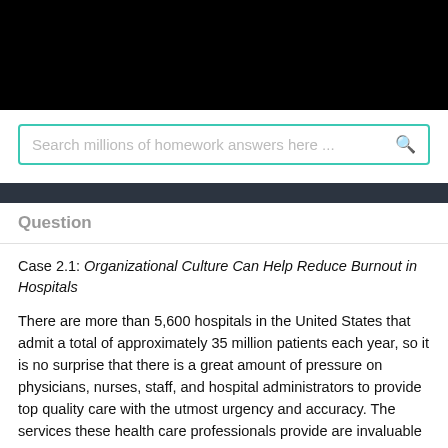[Figure (screenshot): Black header bar at the top of a homework help website]
Search millions of homework answers here ...
Question
Case 2.1: Organizational Culture Can Help Reduce Burnout in Hospitals
There are more than 5,600 hospitals in the United States that admit a total of approximately 35 million patients each year, so it is no surprise that there is a great amount of pressure on physicians, nurses, staff, and hospital administrators to provide top quality care with the utmost urgency and accuracy. The services these health care professionals provide are invaluable